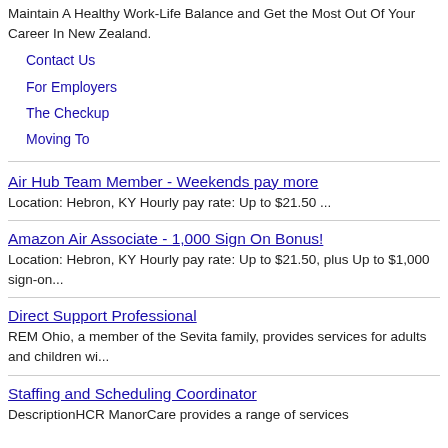Maintain A Healthy Work-Life Balance and Get the Most Out Of Your Career In New Zealand.
Contact Us
For Employers
The Checkup
Moving To
Air Hub Team Member - Weekends pay more
Location: Hebron, KY Hourly pay rate: Up to $21.50 ...
Amazon Air Associate - 1,000 Sign On Bonus!
Location: Hebron, KY Hourly pay rate: Up to $21.50, plus Up to $1,000 sign-on...
Direct Support Professional
REM Ohio, a member of the Sevita family, provides services for adults and children wi...
Staffing and Scheduling Coordinator
DescriptionHCR ManorCare provides a range of services